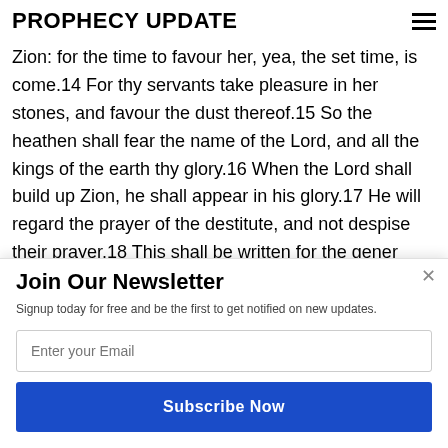PROPHECY UPDATE
Zion: for the time to favour her, yea, the set time, is come.14 For thy servants take pleasure in her stones, and favour the dust thereof.15 So the heathen shall fear the name of the Lord, and all the kings of the earth thy glory.16 When the Lord shall build up Zion, he shall appear in his glory.17 He will regard the prayer of the destitute, and not despise their prayer.18 This shall be written for the gener [POWERED BY SUMO] d the people which
Join Our Newsletter
Signup today for free and be the first to get notified on new updates.
Enter your Email
Subscribe Now